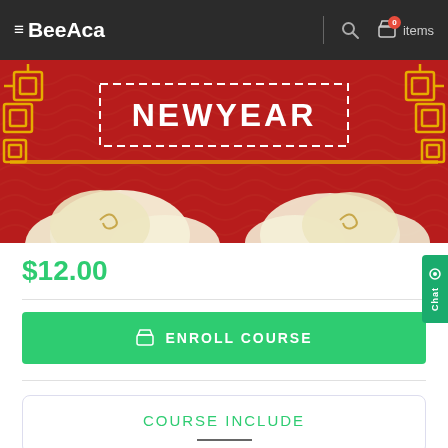BeeAca — 0 items
[Figure (illustration): Chinese New Year themed banner with red background, gold decorative border corners, cloud motifs, and 'NEWYEAR' text in white on a dashed rectangular outline]
$12.00
ENROLL COURSE
COURSE INCLUDE